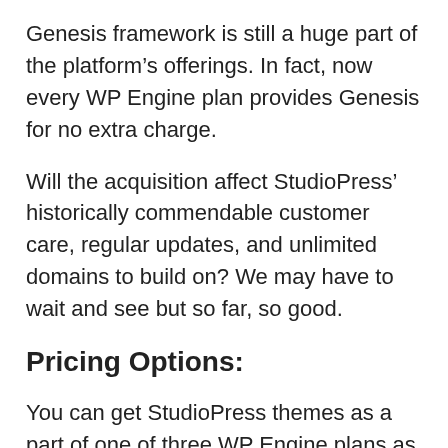Genesis framework is still a huge part of the platform's offerings. In fact, now every WP Engine plan provides Genesis for no extra charge.
Will the acquisition affect StudioPress' historically commendable customer care, regular updates, and unlimited domains to build on? We may have to wait and see but so far, so good.
Pricing Options:
You can get StudioPress themes as a part of one of three WP Engine plans as shown here:
[Figure (screenshot): Screenshot placeholder showing WP Engine pricing plans]